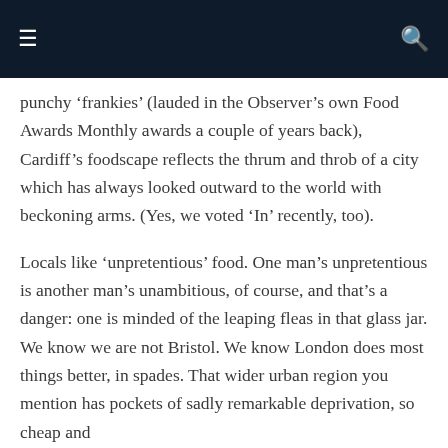≡  🔍
punchy ‘frankies’ (lauded in the Observer’s own Food Awards Monthly awards a couple of years back), Cardiff’s foodscape reflects the thrum and throb of a city which has always looked outward to the world with beckoning arms. (Yes, we voted ‘In’ recently, too).
Locals like ‘unpretentious’ food. One man’s unpretentious is another man’s unambitious, of course, and that’s a danger: one is minded of the leaping fleas in that glass jar. We know we are not Bristol. We know London does most things better, in spades. That wider urban region you mention has pockets of sadly remarkable deprivation, so cheap and